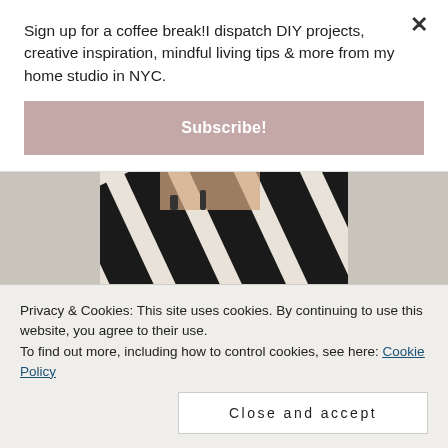Sign up for a coffee break!I dispatch DIY projects, creative inspiration, mindful living tips & more from my home studio in NYC.
Subscribe!
[Figure (photo): Overhead photo of a person wearing black and white zebra-stripe pants with sandals]
Privacy & Cookies: This site uses cookies. By continuing to use this website, you agree to their use.
To find out more, including how to control cookies, see here: Cookie Policy
Close and accept